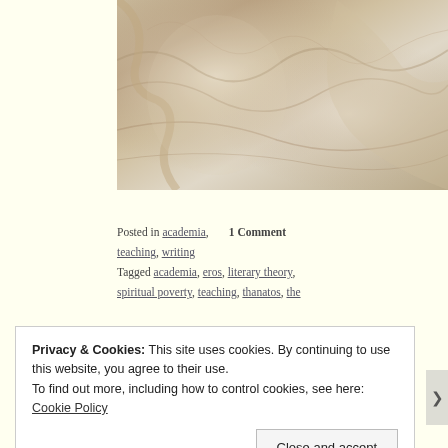[Figure (photo): Classical sculpture showing draped marble figures, close-up view of flowing fabric and body details]
Posted in academia, teaching, writing
Tagged academia, eros, literary theory, spiritual poverty, teaching, thanatos, the
Privacy & Cookies: This site uses cookies. By continuing to use this website, you agree to their use.
To find out more, including how to control cookies, see here: Cookie Policy
Close and accept